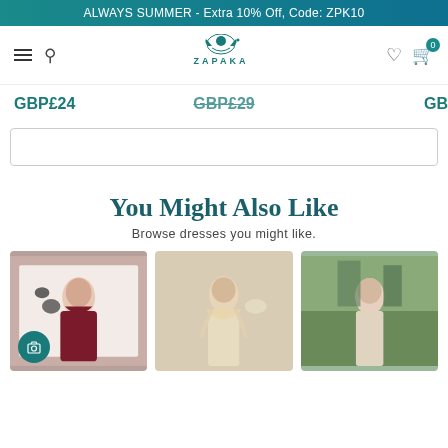ALWAYS SUMMER - Extra 10% Off, Code: ZPK10
[Figure (logo): ZAPAKA brand logo with decorative illustration of a woman's silhouette with floral elements]
GBP£24
GBP£29
GB
You Might Also Like
Browse dresses you might like.
[Figure (photo): Woman wearing a dark burgundy/maroon dress with hat and black gloves posing for fashion photo]
[Figure (photo): Woman wearing a cream/beige feather or fringe dress holding a decorative fan]
[Figure (photo): Woman in light colored outfit outdoors with greenery background, partially cropped]